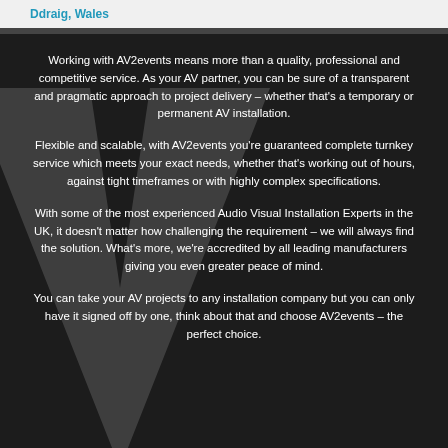Ddraig, Wales
Working with AV2events means more than a quality, professional and competitive service. As your AV partner, you can be sure of a transparent and pragmatic approach to project delivery – whether that's a temporary or permanent AV installation.
Flexible and scalable, with AV2events you're guaranteed complete turnkey service which meets your exact needs, whether that's working out of hours, against tight timeframes or with highly complex specifications.
With some of the most experienced Audio Visual Installation Experts in the UK, it doesn't matter how challenging the requirement – we will always find the solution. What's more, we're accredited by all leading manufacturers giving you even greater peace of mind.
You can take your AV projects to any installation company but you can only have it signed off by one, think about that and choose AV2events – the perfect choice.